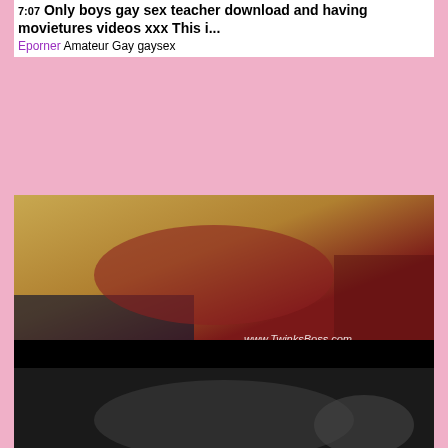7:07 Only boys gay sex teacher download and having movietures videos xxx This i...
Eporner Amateur Gay gaysex
[Figure (photo): Thumbnail of video showing two males on a red sofa with watermark www.TwinksBoss.com]
7:05 Gay men porn that will make you cum They make supreme use of the hotel apartment the
Eporner Amateur Gay twink doggystyle glamour
[Figure (photo): Dark video thumbnail showing partial figures]